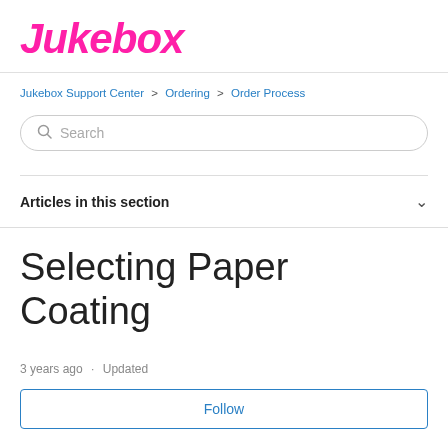Jukebox
Jukebox Support Center > Ordering > Order Process
Search
Articles in this section
Selecting Paper Coating
3 years ago · Updated
Follow